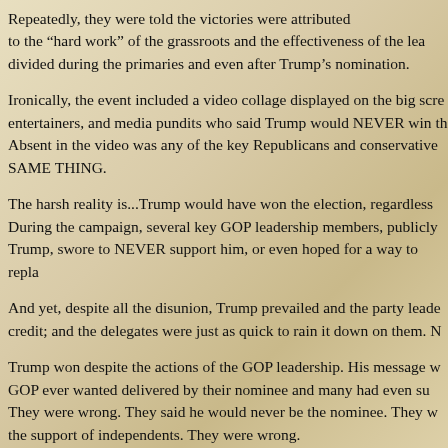Repeatedly, they were told the victories were attributed to the “hard work” of the grassroots and the effectiveness of the lea… divided during the primaries and even after Trump’s nomination.
Ironically, the event included a video collage displayed on the big scre… entertainers, and media pundits who said Trump would NEVER win th… Absent in the video was any of the key Republicans and conservative… SAME THING.
The harsh reality is…Trump would have won the election, regardless… During the campaign, several key GOP leadership members, publicly… Trump, swore to NEVER support him, or even hoped for a way to repla…
And yet, despite all the disunion, Trump prevailed and the party leade… credit; and the delegates were just as quick to rain it down on them. N…
Trump won despite the actions of the GOP leadership. His message w… GOP ever wanted delivered by their nominee and many had even su… They were wrong. They said he would never be the nominee. They w… the support of independents. They were wrong.
Nevertheless, the main contention of the Republican delegates and…